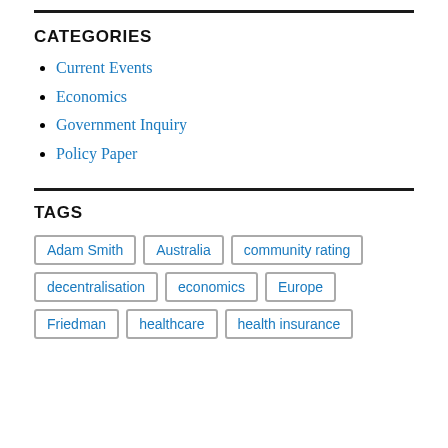CATEGORIES
Current Events
Economics
Government Inquiry
Policy Paper
TAGS
Adam Smith
Australia
community rating
decentralisation
economics
Europe
Friedman
healthcare
health insurance